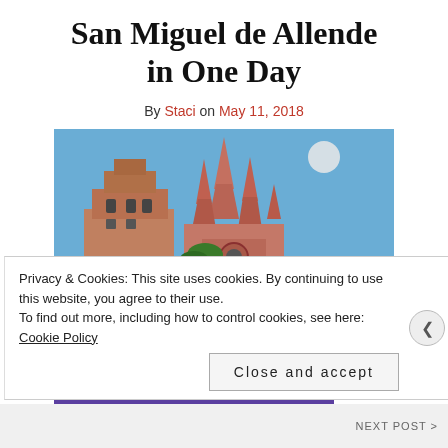San Miguel de Allende in One Day
By Staci on May 11, 2018
[Figure (photo): Upward-angled photograph of the Parroquia de San Miguel Arcángel church in San Miguel de Allende, Mexico, with its pink neo-Gothic spires against a clear blue sky, palm trees visible behind it, and an older stone church tower to the left.]
Privacy & Cookies: This site uses cookies. By continuing to use this website, you agree to their use.
To find out more, including how to control cookies, see here: Cookie Policy
Close and accept